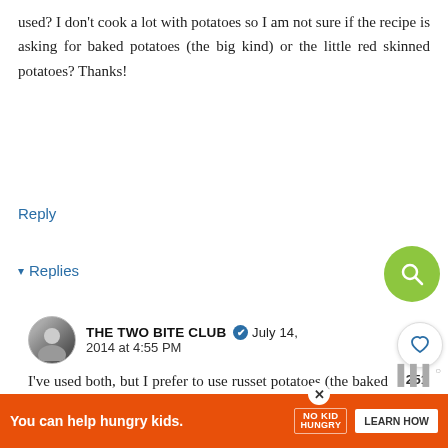used? I don't cook a lot with potatoes so I am not sure if the recipe is asking for baked potatoes (the big kind) or the little red skinned potatoes? Thanks!
Reply
▾ Replies
THE TWO BITE CLUB ✔ July 14, 2014 at 4:55 PM
I've used both, but I prefer to use russet potatoes (the baked potato kind).
Reply
WHAT'S NEXT → Sheet Pan Eggplant...
You can help hungry kids. NO KID HUNGRY LEARN HOW